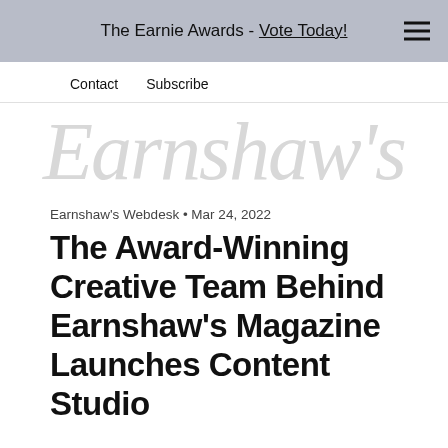The Earnie Awards - Vote Today!
Contact  Subscribe
[Figure (logo): Earnshaw's magazine logo in large light gray italic serif font]
Earnshaw's Webdesk • Mar 24, 2022
The Award-Winning Creative Team Behind Earnshaw's Magazine Launches Content Studio